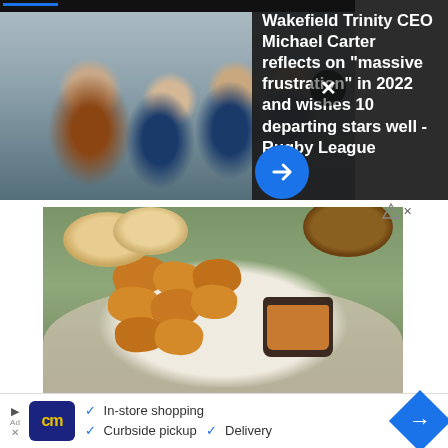[Figure (photo): Rugby league players on field, crowd in background, blue and white kits]
Wakefield Trinity CEO Michael Carter reflects on "massive frustration" in 2022 and wishes 10 departing stars well - Rugby League
[Figure (photo): Advertisement photo of fried chicken nuggets on a plate with dipping sauce and bread rolls]
Podemos Entregar
Pollo Campero
Herndon 10AM–10PM
In-store shopping  Curbside pickup  Delivery